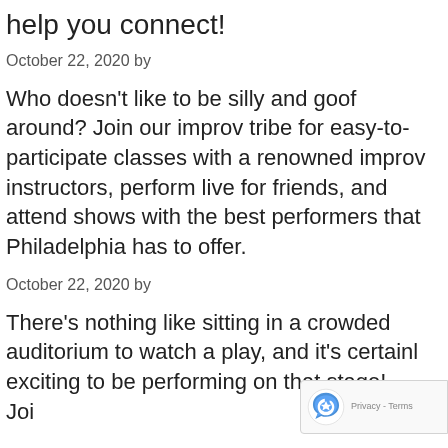help you connect!
October 22, 2020 by
Who doesn't like to be silly and goof around? Join our improv tribe for easy-to-participate classes with a renowned improv instructors, perform live for friends, and attend shows with the best performers that Philadelphia has to offer.
October 22, 2020 by
There's nothing like sitting in a crowded auditorium to watch a play, and it's certainly exciting to be performing on that stage! Join…